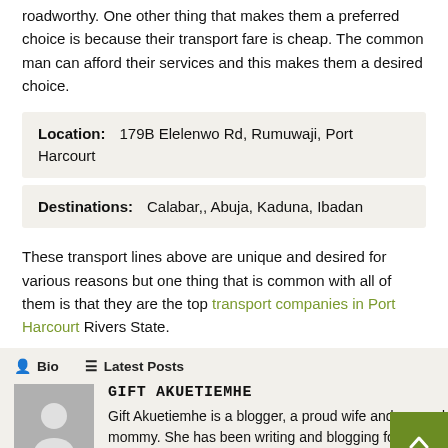roadworthy. One other thing that makes them a preferred choice is because their transport fare is cheap. The common man can afford their services and this makes them a desired choice.
| Location: | 179B Elelenwo Rd, Rumuwaji, Port Harcourt |
| Destinations: | Calabar,, Abuja, Kaduna, Ibadan |
These transport lines above are unique and desired for various reasons but one thing that is common with all of them is that they are the top transport companies in Port Harcourt Rivers State.
Bio  Latest Posts
[Figure (photo): Avatar/profile placeholder image showing a silhouette person icon on grey background]
GIFT AKUETIEMHE
Gift Akuetiemhe is a blogger, a proud wife and a proud mommy. She has been writing and blogging for nearly five years and is focused